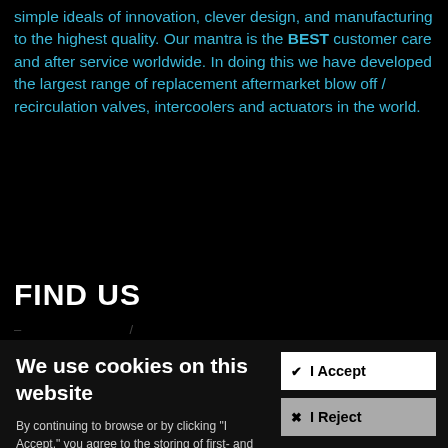simple ideals of innovation, clever design, and manufacturing to the highest quality. Our mantra is the BEST customer care and after service worldwide. In doing this we have developed the largest range of replacement aftermarket blow off / recirculation valves, intercoolers and actuators in the world.
FIND US
– [redacted text]
We use cookies on this website
By continuing to browse or by clicking "I Accept," you agree to the storing of first- and third-party cookies on your device to analyze site usage so we can improve our site, provide better service and use Paypal. Find out more in our Cookie Policy.